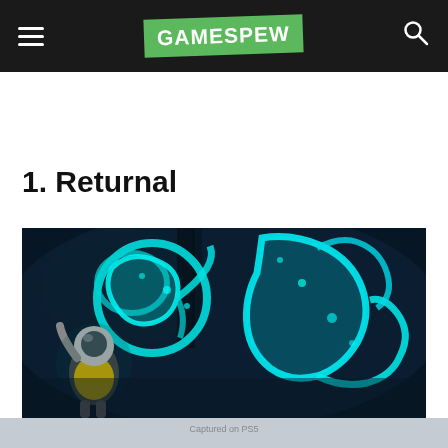GAMESPEW
1. Returnal
[Figure (photo): Screenshot from Returnal showing a space-suited character facing large glowing cyan alien creatures in a dark, atmospheric environment. Labeled 'Captured on PS5'.]